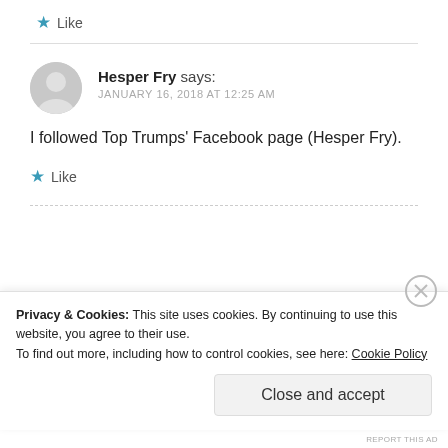Like
Hesper Fry says: JANUARY 16, 2018 AT 12:25 AM
I followed Top Trumps' Facebook page (Hesper Fry).
Like
Privacy & Cookies: This site uses cookies. By continuing to use this website, you agree to their use.
To find out more, including how to control cookies, see here: Cookie Policy
Close and accept